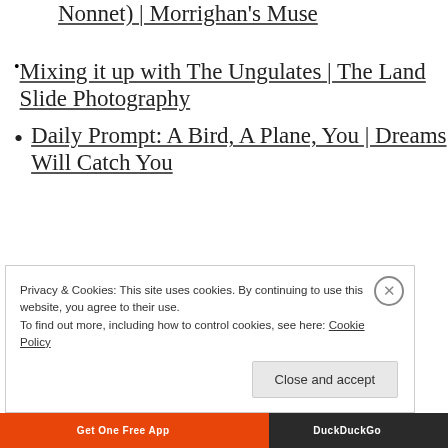Daily Prompt: Blood (A Nonnet) | Morrighan's Muse
Mixing it up with The Ungulates | The Land Slide Photography
Daily Prompt: A Bird, A Plane, You | Dreams Will Catch You
Privacy & Cookies: This site uses cookies. By continuing to use this website, you agree to their use.
To find out more, including how to control cookies, see here: Cookie Policy
Close and accept